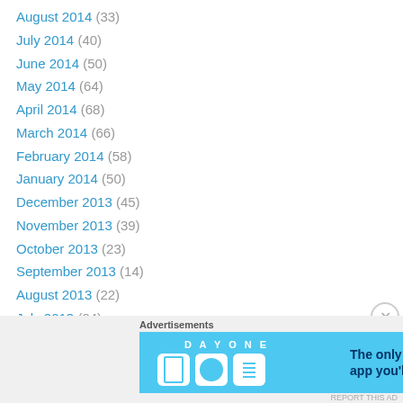August 2014 (33)
July 2014 (40)
June 2014 (50)
May 2014 (64)
April 2014 (68)
March 2014 (66)
February 2014 (58)
January 2014 (50)
December 2013 (45)
November 2013 (39)
October 2013 (23)
September 2013 (14)
August 2013 (22)
July 2013 (24)
June 2013 (20)
May 2013 (25)
[Figure (screenshot): Day One journaling app advertisement banner with blue background showing app icons and tagline 'The only journaling app you'll ever need.']